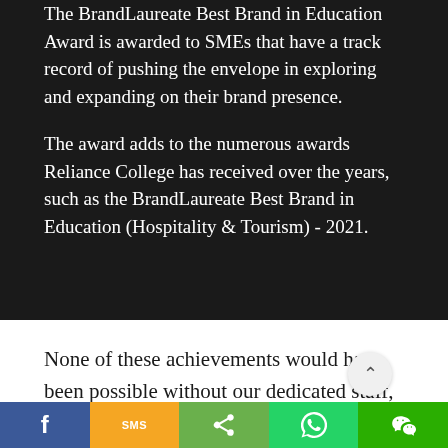The BrandLaureate Best Brand in Education Award is awarded to SMEs that have a track record of pushing the envelope in exploring and expanding on their brand presence.
The award adds to the numerous awards Reliance College has received over the years, such as the BrandLaureate Best Brand in Education (Hospitality & Tourism) - 2021.
None of these achievements would have been possible without our dedicated staff, inspiring faculty of lecturers and tutors and of course, yo...